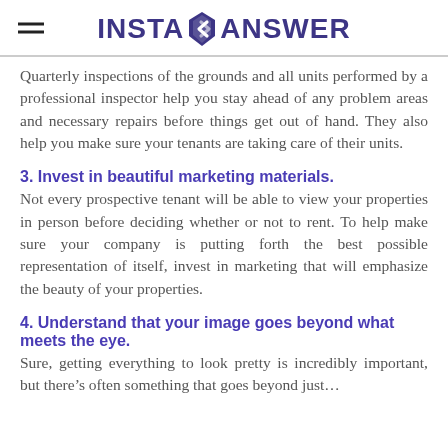INSTA ANSWER
Quarterly inspections of the grounds and all units performed by a professional inspector help you stay ahead of any problem areas and necessary repairs before things get out of hand. They also help you make sure your tenants are taking care of their units.
3. Invest in beautiful marketing materials.
Not every prospective tenant will be able to view your properties in person before deciding whether or not to rent. To help make sure your company is putting forth the best possible representation of itself, invest in marketing that will emphasize the beauty of your properties.
4. Understand that your image goes beyond what meets the eye.
Sure, getting everything to look pretty is incredibly important, but there's often something that goes beyond just...